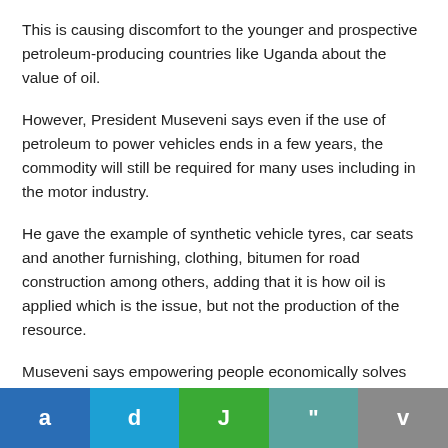This is causing discomfort to the younger and prospective petroleum-producing countries like Uganda about the value of oil.
However, President Museveni says even if the use of petroleum to power vehicles ends in a few years, the commodity will still be required for many uses including in the motor industry.
He gave the example of synthetic vehicle tyres, car seats and another furnishing, clothing, bitumen for road construction among others, adding that it is how oil is applied which is the issue, but not the production of the resource.
Museveni says empowering people economically solves
a  d  J  "  v